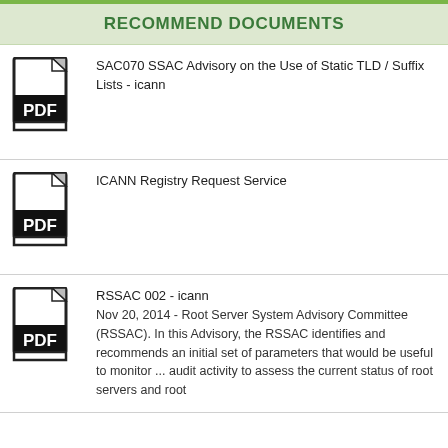RECOMMEND DOCUMENTS
SAC070 SSAC Advisory on the Use of Static TLD / Suffix Lists - icann
ICANN Registry Request Service
RSSAC 002 - icann
Nov 20, 2014 - Root Server System Advisory Committee (RSSAC). In this Advisory, the RSSAC identifies and recommends an initial set of parameters that would be useful to monitor ... audit activity to assess the current status of root servers and root